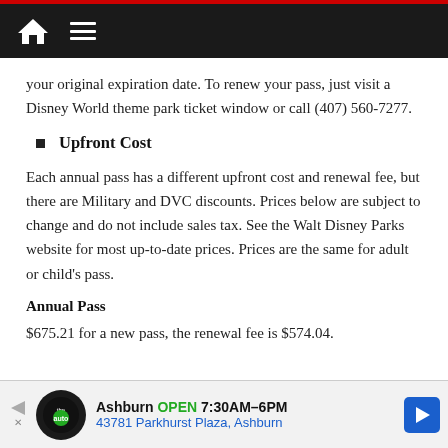[navigation bar with home and menu icons]
your original expiration date. To renew your pass, just visit a Disney World theme park ticket window or call (407) 560-7277.
Upfront Cost
Each annual pass has a different upfront cost and renewal fee, but there are Military and DVC discounts. Prices below are subject to change and do not include sales tax. See the Walt Disney Parks website for most up-to-date prices. Prices are the same for adult or child's pass.
Annual Pass
$675.21 for a new pass, the renewal fee is $574.04.
[Figure (screenshot): Ad banner: Ashburn OPEN 7:30AM–6PM, 43781 Parkhurst Plaza, Ashburn, with auto service logo and navigation arrow icon]